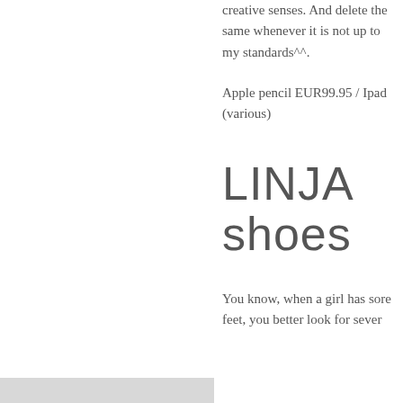creative senses. And delete the same whenever it is not up to my standards^^.
Apple pencil EUR99.95 / Ipad (various)
LINJA shoes
You know, when a girl has sore feet, you better look for sever...